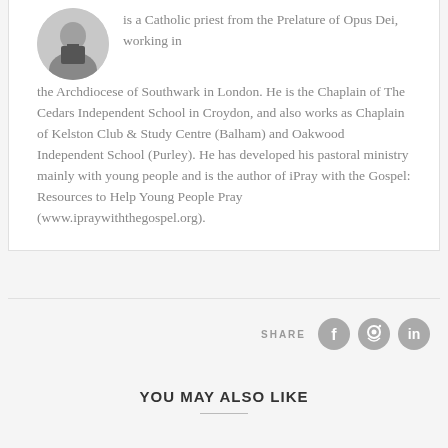[Figure (photo): Circular portrait photo of a Catholic priest in clerical collar]
is a Catholic priest from the Prelature of Opus Dei, working in the Archdiocese of Southwark in London. He is the Chaplain of The Cedars Independent School in Croydon, and also works as Chaplain of Kelston Club & Study Centre (Balham) and Oakwood Independent School (Purley). He has developed his pastoral ministry mainly with young people and is the author of iPray with the Gospel: Resources to Help Young People Pray (www.ipraywiththegospel.org).
SHARE
[Figure (infographic): Social sharing icons: Facebook, Pinterest, LinkedIn]
YOU MAY ALSO LIKE